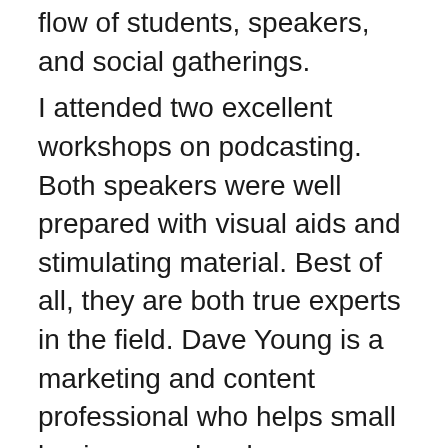flow of students, speakers, and social gatherings. I attended two excellent workshops on podcasting. Both speakers were well prepared with visual aids and stimulating material. Best of all, they are both true experts in the field. Dave Young is a marketing and content professional who helps small businesses develop materials. He has been podcasting for and with his clients to bring their messages to the public. He explained the explosive growth in podcasting and some of the reasons for the popularity of audio programs. His very enlightening presentation was followed by a more technical workshop by Bjorgvin Benediktsson, a professional audio engineer. These classes continue all week. At the end of the day a keynote speaker and a social hour are planned each day. Our speaker and social hour were upstaged yesterday by a sudden thunderstorm.